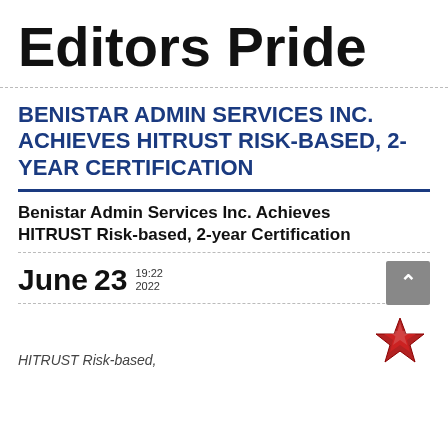Editors Pride
BENISTAR ADMIN SERVICES INC. ACHIEVES HITRUST RISK-BASED, 2-YEAR CERTIFICATION
Benistar Admin Services Inc. Achieves HITRUST Risk-based, 2-year Certification
June 23  19:22 2022
HITRUST Risk-based,